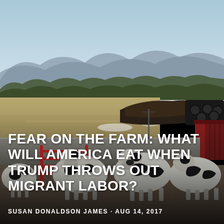[Figure (photo): Outdoor farm scene showing Holstein dairy cows in a concrete pen with red metal gates. Background shows a large flat field, a pile of dark compost/manure, tractor tires, a red barn structure, and a tree-lined hillside with mountains in the distance under a clear blue sky. Winter/early spring landscape.]
FEAR ON THE FARM: WHAT WILL AMERICA EAT WHEN TRUMP THROWS OUT MIGRANT LABOR?
SUSAN DONALDSON JAMES · AUG 14, 2017